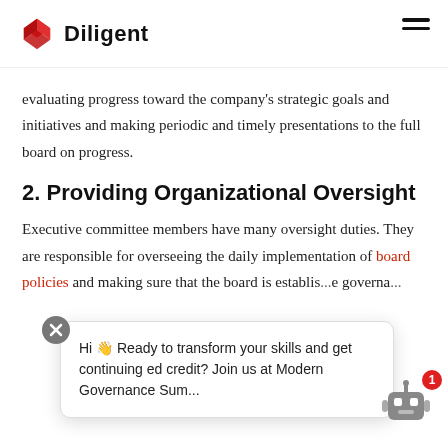Diligent
evaluating progress toward the company's strategic goals and initiatives and making periodic and timely presentations to the full board on progress.
2. Providing Organizational Oversight
Executive committee members have many oversight duties. They are responsible for overseeing the daily implementation of board policies and making sure that the board is establishing effective corporate governance...
Hi 👋 Ready to transform your skills and get continuing ed credit? Join us at Modern Governance Sum...